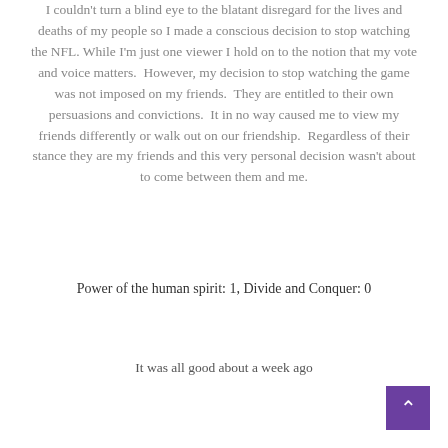I couldn't turn a blind eye to the blatant disregard for the lives and deaths of my people so I made a conscious decision to stop watching the NFL. While I'm just one viewer I hold on to the notion that my vote and voice matters.  However, my decision to stop watching the game was not imposed on my friends.  They are entitled to their own persuasions and convictions.  It in no way caused me to view my friends differently or walk out on our friendship.  Regardless of their stance they are my friends and this very personal decision wasn't about to come between them and me.
Power of the human spirit: 1, Divide and Conquer: 0
It was all good about a week ago